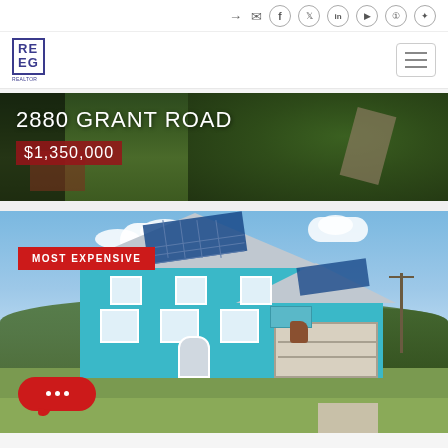Social icons: sign-in, mail, facebook, twitter, linkedin, youtube, instagram, pinterest
[Figure (logo): REEG logo in blue bordered box with tagline text]
[Figure (photo): Aerial view of 2880 Grant Road property with trees and road]
2880 GRANT ROAD
$1,350,000
[Figure (photo): Aerial photo of large teal two-story house with solar panels on roof, garage, green yard, trees in background]
MOST EXPENSIVE